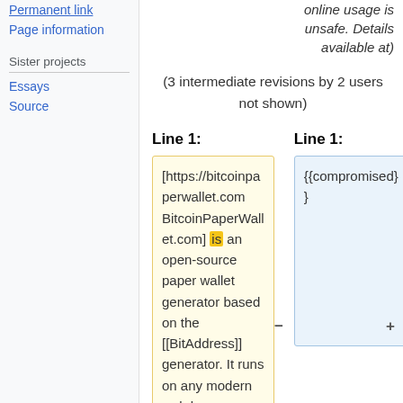Permanent link
Page information
Sister projects
Essays
Source
online usage is unsafe. Details available at)
(3 intermediate revisions by 2 users not shown)
Line 1:
Line 1:
[https://bitcoinpaperwallet.com BitcoinPaperWallet.com] is an open-source paper wallet generator based on the [[BitAddress]] generator. It runs on any modern web browser and relies on JavaScript for all
{{compromised}}